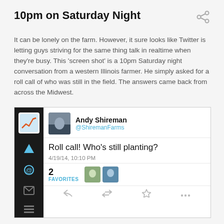10pm on Saturday Night
It can be lonely on the farm. However, it sure looks like Twitter is letting guys striving for the same thing talk in realtime when they're busy. This 'screen shot' is a 10pm Saturday night conversation from a western Illinois farmer. He simply asked for a roll call of who was still in the field. The answers came back from across the Midwest.
[Figure (screenshot): Screenshot of a Twitter mobile app showing a tweet by Andy Shireman (@ShiremanFarms) reading 'Roll call! Who's still planting?' posted on 4/19/14 at 10:10 PM, with 2 favorites shown with avatar thumbnails, and action icons (reply, retweet, favorite, more) at the bottom. The left sidebar shows the Twitter app navigation with icons including home, @mentions, mail, and list.]